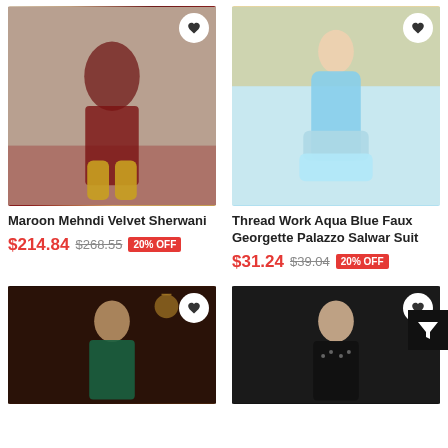[Figure (photo): Man in maroon velvet sherwani with gold dhoti pants standing next to white pillar]
[Figure (photo): Woman wearing aqua blue faux georgette palazzo salwar suit standing in front of floral backdrop]
Maroon Mehndi Velvet Sherwani
$214.84  $268.55  20% OFF
Thread Work Aqua Blue Faux Georgette Palazzo Salwar Suit
$31.24  $39.04  20% OFF
[Figure (photo): Woman in dark teal traditional outfit with jewelry]
[Figure (photo): Man in black embroidered sherwani]